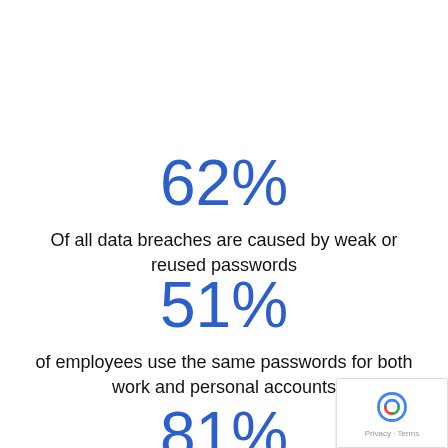62%
Of all data breaches are caused by weak or reused passwords
51%
of employees use the same passwords for both work and personal accounts
81%